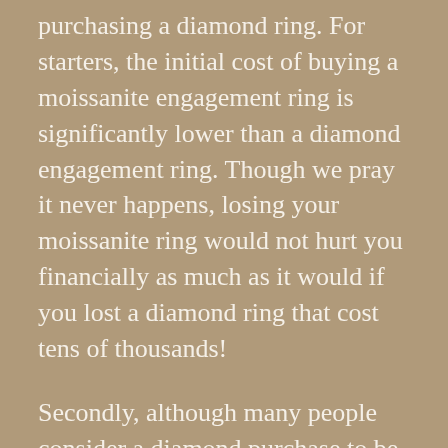purchasing a diamond ring. For starters, the initial cost of buying a moissanite engagement ring is significantly lower than a diamond engagement ring. Though we pray it never happens, losing your moissanite ring would not hurt you financially as much as it would if you lost a diamond ring that cost tens of thousands!
Secondly, although many people consider a diamond purchase to be an investment, the statistics show that this is not actually true. The typical diamonds found in your engagement ring do not appreciate in value and you will usually resell at a loss, even if you keep your ring for many years. Unfortunately, it is often the case that